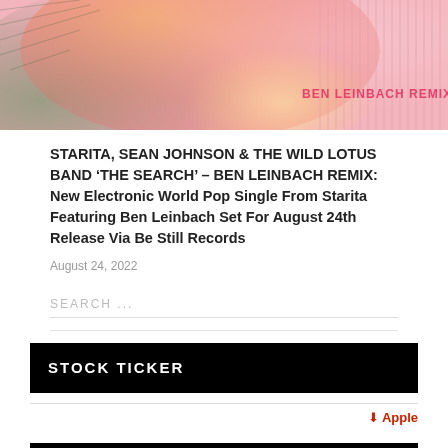[Figure (illustration): Colorful abstract album art with green, orange, yellow, and pink hues, with 'BEN LEINBACH REMIX' text in pink/red on the right side]
STARITA, SEAN JOHNSON & THE WILD LOTUS BAND ‘THE SEARCH’ – BEN LEINBACH REMIX: New Electronic World Pop Single From Starita Featuring Ben Leinbach Set For August 24th Release Via Be Still Records
August 24, 2022
SEARCH ...
STOCK TICKER
⬇ Apple